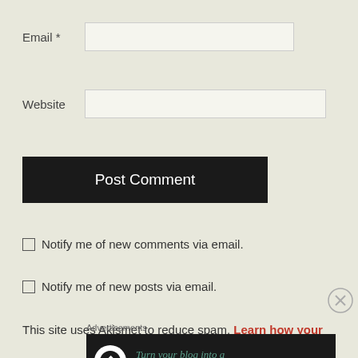Email *
Website
Post Comment
Notify me of new comments via email.
Notify me of new posts via email.
This site uses Akismet to reduce spam. Learn how your
Advertisements
[Figure (other): Advertisement banner: Turn your blog into a money-making online course.]